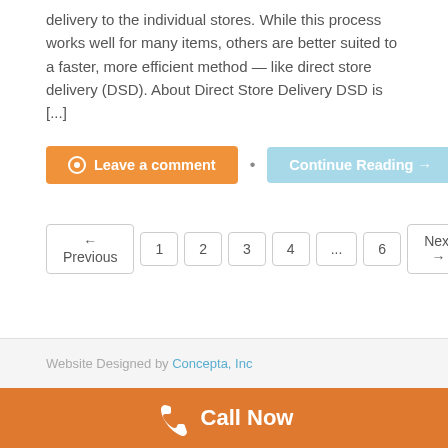delivery to the individual stores. While this process works well for many items, others are better suited to a faster, more efficient method — like direct store delivery (DSD). About Direct Store Delivery DSD is [...]
Leave a comment • Continue Reading →
← Previous 1 2 3 4 ... 6 Next →
Website Designed by Concepta, Inc
Call Now